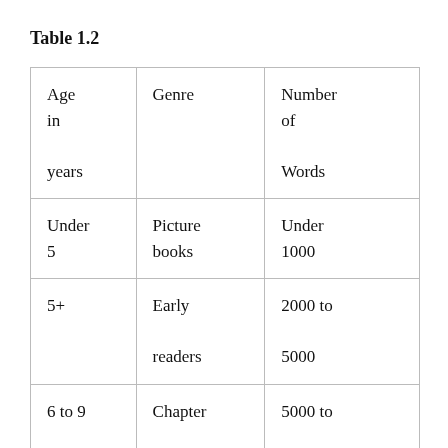Table 1.2
| Age in years | Genre | Number of Words |
| --- | --- | --- |
| Under 5 | Picture books | Under 1000 |
| 5+ | Early readers | 2000 to 5000 |
| 6 to 9 | Chapter books | 5000 to 10,000 |